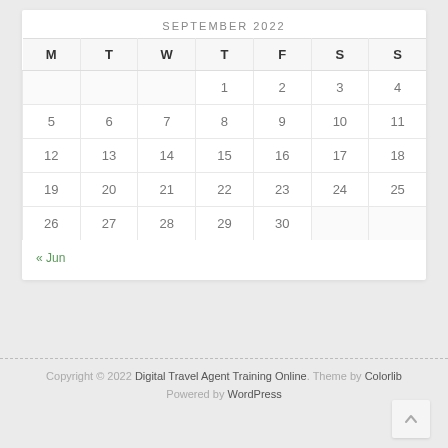SEPTEMBER 2022
| M | T | W | T | F | S | S |
| --- | --- | --- | --- | --- | --- | --- |
|  |  |  | 1 | 2 | 3 | 4 |
| 5 | 6 | 7 | 8 | 9 | 10 | 11 |
| 12 | 13 | 14 | 15 | 16 | 17 | 18 |
| 19 | 20 | 21 | 22 | 23 | 24 | 25 |
| 26 | 27 | 28 | 29 | 30 |  |  |
« Jun
Copyright © 2022 Digital Travel Agent Training Online. Theme by Colorlib. Powered by WordPress.